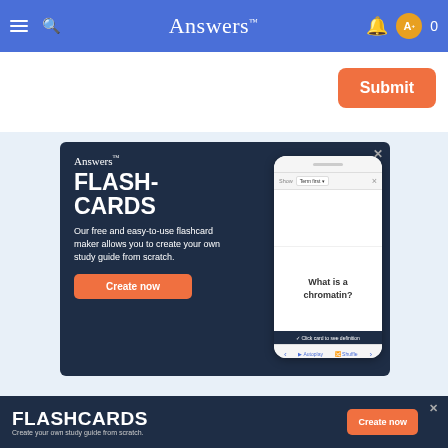Answers
Submit
[Figure (screenshot): Answers flashcard advertisement with dark navy background. Left side shows 'Answers' logo, 'FLASH-CARDS' in large bold white text, description 'Our free and easy-to-use flashcard maker allows you to create your own study guide from scratch.' and an orange 'Create now' button. Right side shows a phone mockup with a flashcard asking 'What is a chromatin?']
[Figure (infographic): Bottom banner advertisement: dark navy background with 'FLASHCARDS' in large bold white text, 'Create your own study guide from scratch.' subtitle, and an orange 'Create now' button. Has a close X button.]